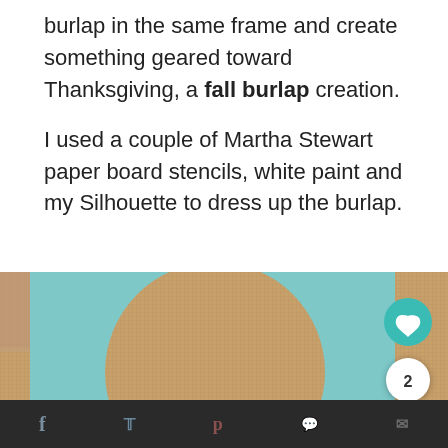burlap in the same frame and create something geared toward Thanksgiving, a fall burlap creation.

I used a couple of Martha Stewart paper board stencils, white paint and my Silhouette to dress up the burlap.
[Figure (photo): Close-up photo of a light blue paper stencil with chevron pattern placed on burlap fabric. The stencil has a large circular cutout and geometric zigzag/chevron border design. Social sharing icons (heart/like button in teal, a count of 2, and a share button) are visible in the upper right of the image.]
f  [twitter]  p  [other icons]